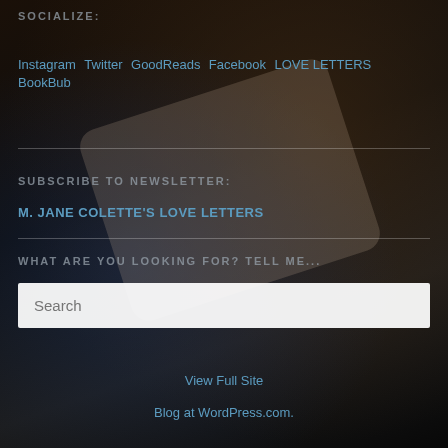SOCIALIZE:
Instagram Twitter GoodReads Facebook LOVE LETTERS BookBub
SUBSCRIBE TO NEWSLETTER:
M. JANE COLETTE'S LOVE LETTERS
WHAT ARE YOU LOOKING FOR? TELL ME...
Search
View Full Site
Blog at WordPress.com.